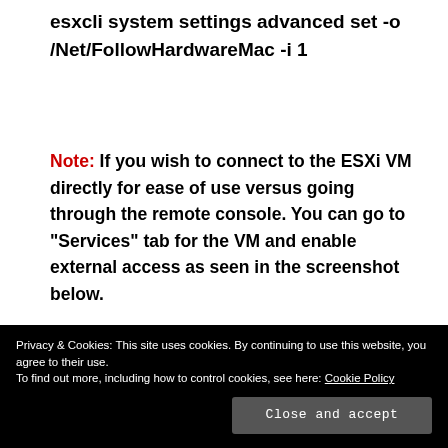esxcli system settings advanced set -o /Net/FollowHardwareMac -i 1
Note: If you wish to connect to the ESXi VM directly for ease of use versus going through the remote console. You can go to "Services" tab for the VM and enable external access as seen in the screenshot below.
[Figure (screenshot): Navigation tabs showing Summary, General, System, Disks, Network, and Services (active/selected) tabs with icons.]
Privacy & Cookies: This site uses cookies. By continuing to use this website, you agree to their use.
To find out more, including how to control cookies, see here: Cookie Policy

Close and accept